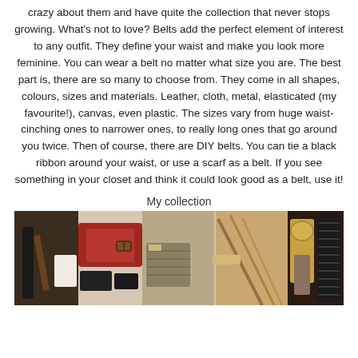crazy about them and have quite the collection that never stops growing. What's not to love? Belts add the perfect element of interest to any outfit. They define your waist and make you look more feminine. You can wear a belt no matter what size you are. The best part is, there are so many to choose from. They come in all shapes, colours, sizes and materials. Leather, cloth, metal, elasticated (my favourite!), canvas, even plastic. The sizes vary from huge waist-cinching ones to narrower ones, to really long ones that go around you twice. Then of course, there are DIY belts. You can tie a black ribbon around your waist, or use a scarf as a belt. If you see something in your closet and think it could look good as a belt, use it!
My collection
[Figure (photo): A collection of various belts laid out on a light surface, including black leather belts, a wide red/brown belt with a buckle, thin tan leather strips, a patterned belt, and dark belts on the right side.]